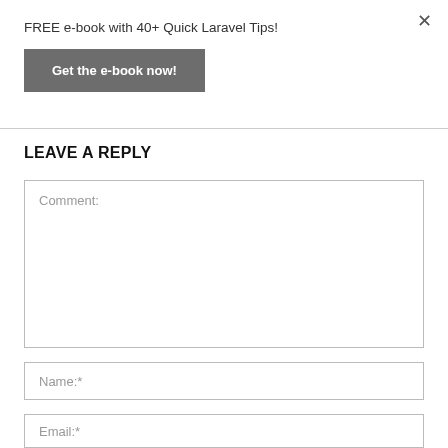FREE e-book with 40+ Quick Laravel Tips!
Get the e-book now!
LEAVE A REPLY
Comment:
Name:*
Email:*